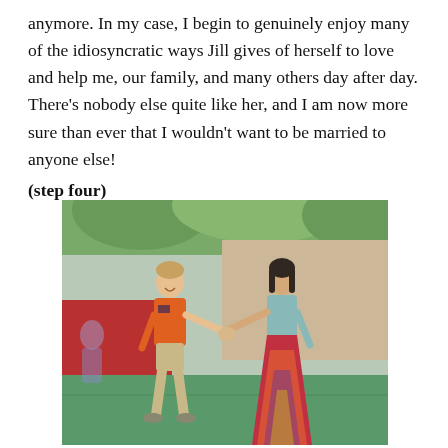anymore. In my case, I begin to genuinely enjoy many of the idiosyncratic ways Jill gives of herself to love and help me, our family, and many others day after day. There's nobody else quite like her, and I am now more sure than ever that I wouldn't want to be married to anyone else! (step four)
[Figure (photo): Two people holding hands and smiling at each other outdoors. A man in an orange shirt and khaki shorts on the left, and a woman in a light blue top and colorful patterned skirt on the right. They appear to be on a green court or plaza with a red wall and tropical greenery in the background.]